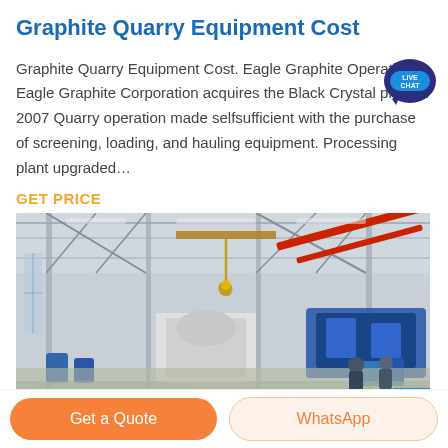Graphite Quarry Equipment Cost
Graphite Quarry Equipment Cost. Eagle Graphite Operations. Eagle Graphite Corporation acquires the Black Crystal project. 2007 Quarry operation made selfsufficient with the purchase of screening, loading, and hauling equipment. Processing plant upgraded…
GET PRICE
[Figure (photo): Interior of a large industrial factory/processing plant with overhead crane hook, steel framework, conveyor systems, blue heavy machinery, and workers on the floor]
Get a Quote
WhatsApp